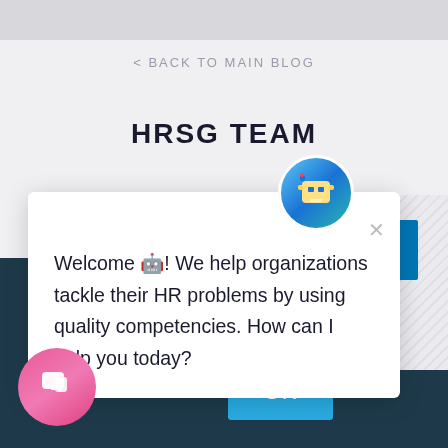< BACK TO MAIN BLOG
HRSG TEAM
[Figure (screenshot): Chat popup widget with bot avatar showing welcome message: 'Welcome 🤖! We help organizations tackle their HR problems by using quality competencies. How can I help you today?' with a close X button. Below is a dark teal footer with cookie consent text referencing privacy policy and an OK button. A pink chat widget button is at bottom left. A LinkedIn button is visible at right.]